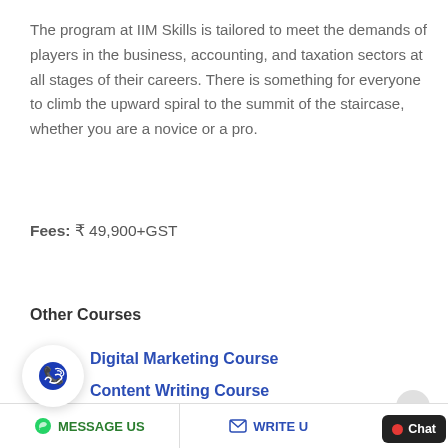The program at IIM Skills is tailored to meet the demands of players in the business, accounting, and taxation sectors at all stages of their careers. There is something for everyone to climb the upward spiral to the summit of the staircase, whether you are a novice or a pro.
Fees: ₹ 49,900+GST
Other Courses
Digital Marketing Course
Content Writing Course
MESSAGE US   WRITE U   Chat